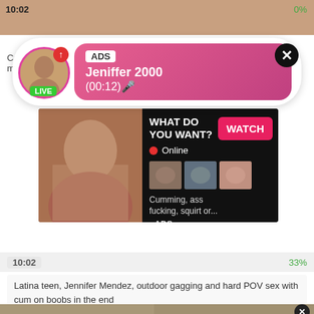[Figure (screenshot): Top video thumbnail strip showing time 10:02 and 0% indicator]
[Figure (infographic): Notification popup ad for Jeniffer 2000 with LIVE badge, ADS tag, and timer (00:12)]
Carme... mom...
[Figure (infographic): Ad banner with WHAT DO YOU WANT? text, WATCH button, Online indicator with red dot, thumbnail images, and text: Cumming, ass fucking, squirt or... • ADS]
10:02
33%
Latina teen, Jennifer Mendez, outdoor gagging and hard POV sex with cum on boobs in the end
[Figure (photo): Bottom thumbnail strip of video content]